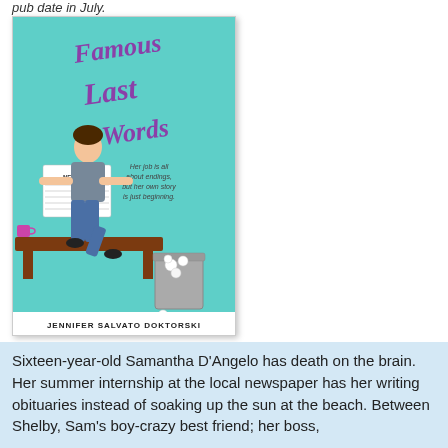pub date in July.
[Figure (illustration): Book cover for 'Famous Last Words' by Jennifer Salvato Doktorski. A teal/turquoise background with purple cursive title text. A young woman sits on a brown wooden desk reading a newspaper labeled NEWS. A purple coffee cup sits on the desk. A gray trash can with crumpled paper is on the floor. Author name across the bottom: JENNIFER SALVATO DOKTORSKI. Tagline: 'Her job is all about endings, but her own story is just beginning.']
Sixteen-year-old Samantha D'Angelo has death on the brain. Her summer internship at the local newspaper has her writing obituaries instead of soaking up the sun at the beach. Between Shelby, Sam's boy-crazy best friend; her boss,